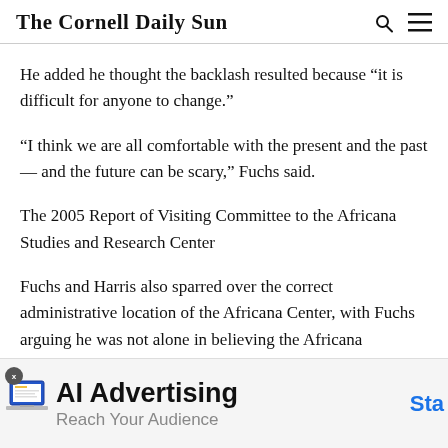The Cornell Daily Sun
He added he thought the backlash resulted because “it is difficult for anyone to change.”
“I think we are all comfortable with the present and the past — and the future can be scary,” Fuchs said.
The 2005 Report of Visiting Committee to the Africana Studies and Research Center
Fuchs and Harris also sparred over the correct administrative location of the Africana Center, with Fuchs arguing he was not alone in believing the Africana
[Figure (infographic): Advertisement banner: AI Advertising - Reach Your Audience, with a blue 'Sta' call to action button partially visible]